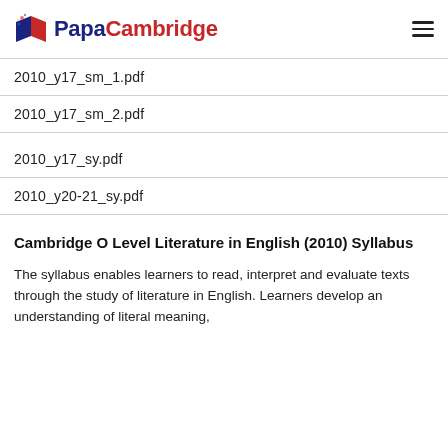PapaCambridge
2010_y17_sm_1.pdf
2010_y17_sm_2.pdf
2010_y17_sy.pdf
2010_y20-21_sy.pdf
Cambridge O Level Literature in English (2010) Syllabus
The syllabus enables learners to read, interpret and evaluate texts through the study of literature in English. Learners develop an understanding of literal meaning,